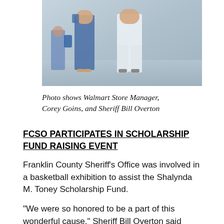[Figure (photo): Photo of two people standing together, one in blue jeans and one in white pants, taken outdoors.]
Photo shows Walmart Store Manager, Corey Goins, and Sheriff Bill Overton
FCSO PARTICIPATES IN SCHOLARSHIP FUND RAISING EVENT
Franklin County Sheriff's Office was involved in a basketball exhibition to assist the Shalynda M. Toney Scholarship Fund.
“We were so honored to be a part of this wonderful cause,” Sheriff Bill Overton said Saturday. “Thanks to all those who helped organize, work and participate in this event.”
The event was held Saturday, August 3rd at the